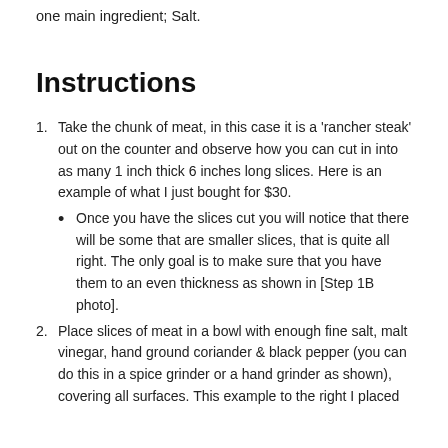one main ingredient; Salt.
Instructions
Take the chunk of meat, in this case it is a 'rancher steak' out on the counter and observe how you can cut in into as many 1 inch thick 6 inches long slices. Here is an example of what I just bought for $30.
Once you have the slices cut you will notice that there will be some that are smaller slices, that is quite all right. The only goal is to make sure that you have them to an even thickness as shown in [Step 1B photo].
Place slices of meat in a bowl with enough fine salt, malt vinegar, hand ground coriander & black pepper (you can do this in a spice grinder or a hand grinder as shown), covering all surfaces. This example to the right I placed